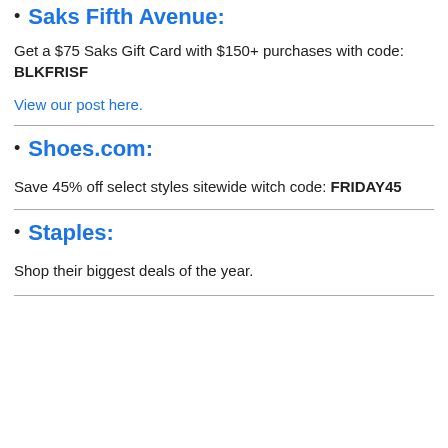Saks Fifth Avenue:
Get a $75 Saks Gift Card with $150+ purchases with code: BLKFRISF
View our post here.
Shoes.com:
Save 45% off select styles sitewide witch code: FRIDAY45
Staples:
Shop their biggest deals of the year.